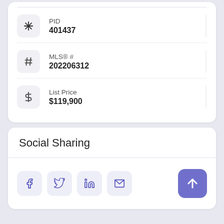PID
401437
MLS® #
202206312
List Price
$119,900
Social Sharing